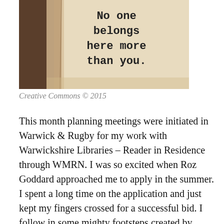[Figure (photo): A close-up photograph of an open book showing the text 'No one belongs here more than you.' printed on a beige/cream page, with the book spine visible on the left side.]
Creative Commons © 2015
This month planning meetings were initiated in Warwick & Rugby for my work with Warwickshire Libraries – Reader in Residence through WMRN. I was so excited when Roz Goddard approached me to apply in the summer. I spent a long time on the application and just kept my fingers crossed for a successful bid. I follow in some mighty footsteps created by Readers in Residence: Jean Atkin, Andy Killeen (2014) and Deborah Alma (2015).